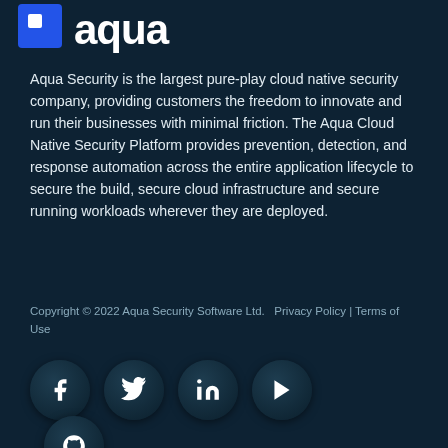[Figure (logo): Aqua Security logo - blue square icon with white 'aqua' text]
Aqua Security is the largest pure-play cloud native security company, providing customers the freedom to innovate and run their businesses with minimal friction. The Aqua Cloud Native Security Platform provides prevention, detection, and response automation across the entire application lifecycle to secure the build, secure cloud infrastructure and secure running workloads wherever they are deployed.
Copyright © 2022 Aqua Security Software Ltd.   Privacy Policy | Terms of Use
[Figure (infographic): Social media icon circles: Facebook, Twitter, LinkedIn, YouTube, and a partial fifth icon at bottom]